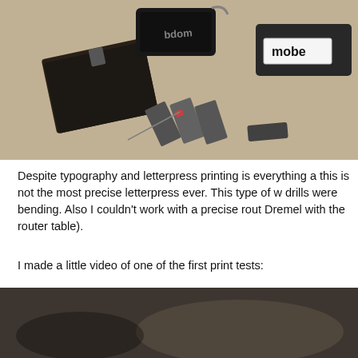[Figure (photo): Close-up photograph of letterpress type pieces and printing blocks scattered on a light beige surface. Various metal type slugs, letter blocks including one labeled 'mobe' and another partially showing 'bdom', and small metal components are visible.]
Despite typography and letterpress printing is everything a this is not the most precise letterpress ever. This type of w drills were bending. Also I couldn't work with a precise rout Dremel with the router table).
I made a little video of one of the first print tests:
[Figure (screenshot): Partial view of a dark, blurry video thumbnail showing a print test in progress.]